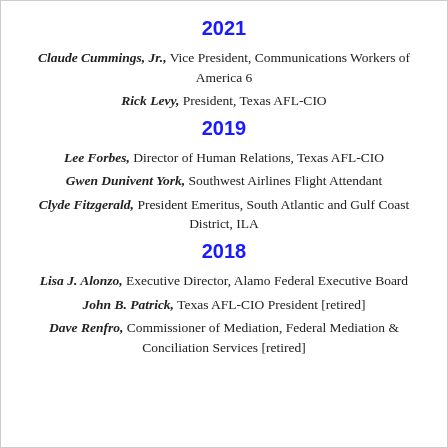2021
Claude Cummings, Jr., Vice President, Communications Workers of America 6
Rick Levy, President, Texas AFL-CIO
2019
Lee Forbes, Director of Human Relations, Texas AFL-CIO
Gwen Dunivent York, Southwest Airlines Flight Attendant
Clyde Fitzgerald, President Emeritus, South Atlantic and Gulf Coast District, ILA
2018
Lisa J. Alonzo, Executive Director, Alamo Federal Executive Board
John B. Patrick, Texas AFL-CIO President [retired]
Dave Renfro, Commissioner of Mediation, Federal Mediation & Conciliation Services [retired]